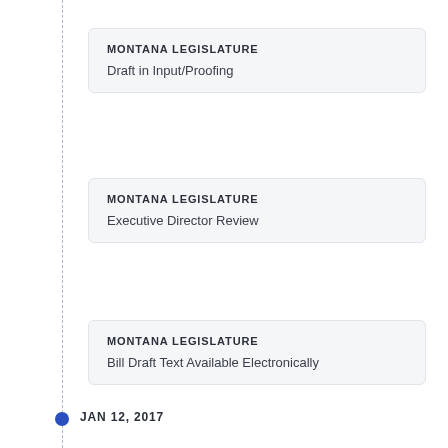MONTANA LEGISLATURE
Draft in Input/Proofing
MONTANA LEGISLATURE
Executive Director Review
MONTANA LEGISLATURE
Bill Draft Text Available Electronically
JAN 12, 2017